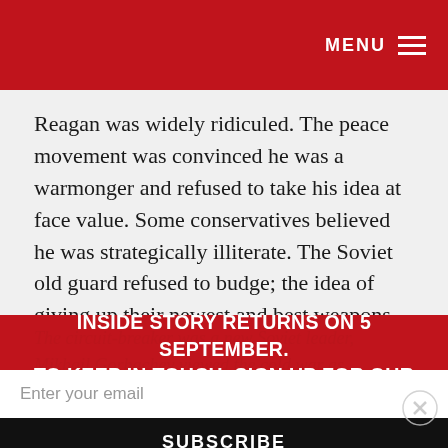MENU
Reagan was widely ridiculed. The peace movement was convinced he was a warmonger and refused to take his idea at face value. Some conservatives believed he was strategically illiterate. The Soviet old guard refused to budge; the idea of giving up their newest and best weapons struck them as ludicrous.
The circuit-breaker was a new Soviet leader, Mikhail Gorbachev viewed the cold war as ruinously expensive, politically silly and reckless. He accepted Reagan's offer, giving us the INF...s, GLCMs and Pershing IIs were scrapped. It was a big step towards ending the cold war.
INSIDE STORY RETURNS ON 5 SEPTEMBER. TO KEEP IN TOUCH, SIGN UP FOR OUR FREE NEWSLETTER.
Enter your email
SUBSCRIBE